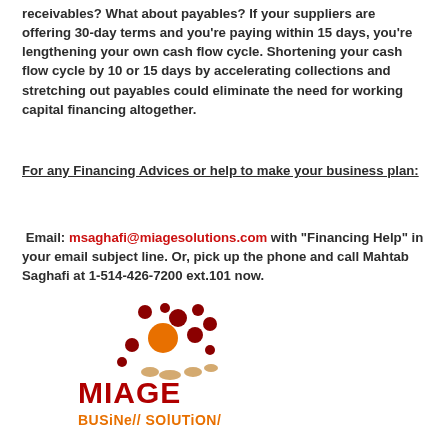receivables? What about payables? If your suppliers are offering 30-day terms and you’re paying within 15 days, you’re lengthening your own cash flow cycle. Shortening your cash flow cycle by 10 or 15 days by accelerating collections and stretching out payables could eliminate the need for working capital financing altogether.
For any Financing Advices or help to make your business plan:
Email: msaghafi@miagesolutions.com with “Financing Help” in your email subject line. Or, pick up the phone and call Mahtab Saghafi at 1-514-426-7200 ext.101 now.
[Figure (logo): Miage Business Solutions logo with red and orange dots and text]